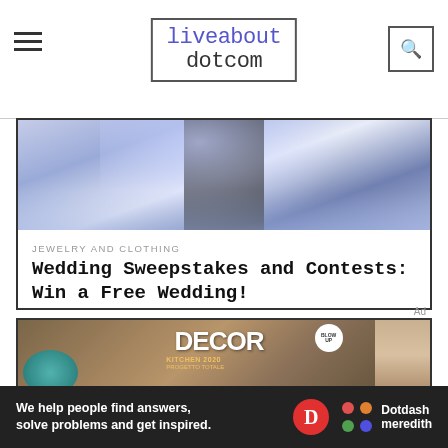liveabout dotcom
[Figure (photo): Wedding couple photo with blue and purple tones, likely on a beach]
JEWELRY AND CLOTHING
Wedding Sweepstakes and Contests: Win a Free Wedding!
[Figure (photo): DECOR magazine cover with interior design images, kitchen and living spaces]
Ad
We help people find answers, solve problems and get inspired. Dotdash meredith